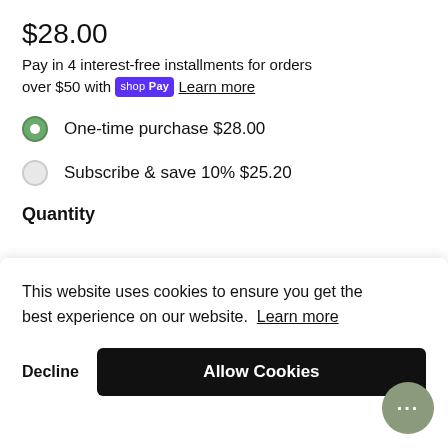$28.00
Pay in 4 interest-free installments for orders over $50 with shop Pay  Learn more
One-time purchase $28.00
Subscribe & save 10% $25.20
Quantity
This website uses cookies to ensure you get the best experience on our website. Learn more
Decline  Allow Cookies